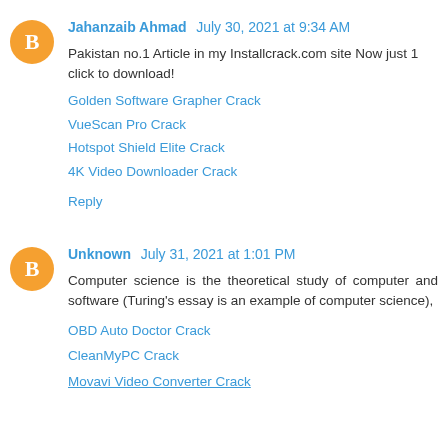Jahanzaib Ahmad  July 30, 2021 at 9:34 AM
Pakistan no.1 Article in my Installcrack.com site Now just 1 click to download!
Golden Software Grapher Crack
VueScan Pro Crack
Hotspot Shield Elite Crack
4K Video Downloader Crack
Reply
Unknown  July 31, 2021 at 1:01 PM
Computer science is the theoretical study of computer and software (Turing's essay is an example of computer science),
OBD Auto Doctor Crack
CleanMyPC Crack
Movavi Video Converter Crack